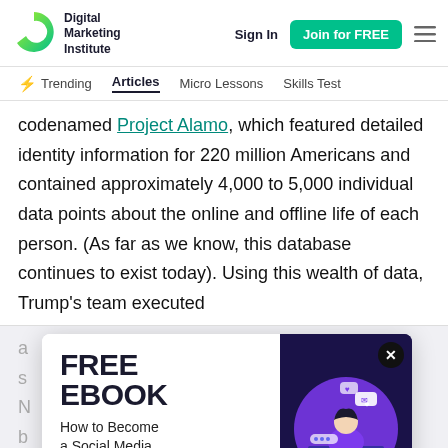Digital Marketing Institute | Sign In | Join for FREE
Trending | Articles | Micro Lessons | Skills Test
codenamed Project Alamo, which featured detailed identity information for 220 million Americans and contained approximately 4,000 to 5,000 individual data points about the online and offline life of each person. (As far as we know, this database continues to exist today). Using this wealth of data, Trump's team executed
[Figure (illustration): Popup advertisement showing FREE EBOOK - How to Become a Social Media Manager, with an illustration of a woman using a laptop with social media icons, close button in top right corner]